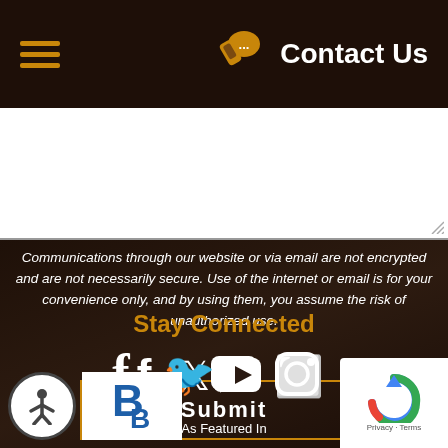Contact Us
[Figure (screenshot): White textarea input box for message]
Communications through our website or via email are not encrypted and are not necessarily secure. Use of the internet or email is for your convenience only, and by using them, you assume the risk of unauthorized use.
Submit
Stay Connected
[Figure (infographic): Social media icons: Facebook, Twitter, YouTube, Instagram]
[Figure (infographic): Accessibility button, BBB badge, As Featured In label, reCAPTCHA badge]